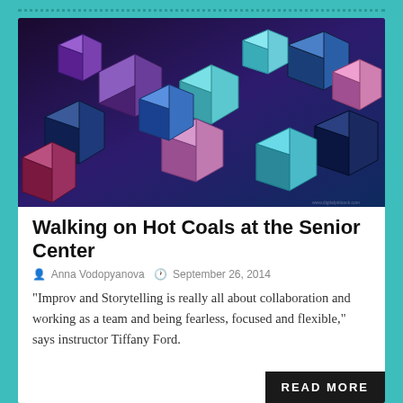[Figure (illustration): Abstract 3D geometric cubes in shades of blue, purple, teal, and pink, scattered across the image]
Walking on Hot Coals at the Senior Center
Anna Vodopyanova   September 26, 2014
“Improv and Storytelling is really all about collaboration and working as a team and being fearless, focused and flexible,” says instructor Tiffany Ford.
READ MORE